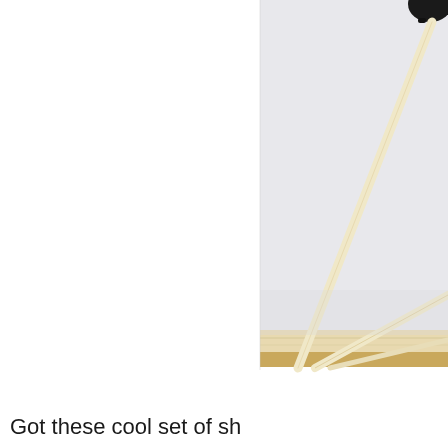[Figure (photo): A partial photo showing what appears to be a black object (possibly a lollipop or cake pop) on a wooden stick, with additional sticks crossing in the frame, resting on a light wooden surface against a white/light grey background. The left half of the image is white (cut off or blank).]
Got these cool set of sh